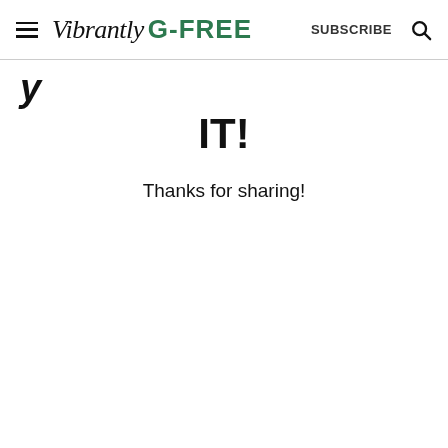Vibrantly G-FREE  SUBSCRIBE
IT!
Thanks for sharing!